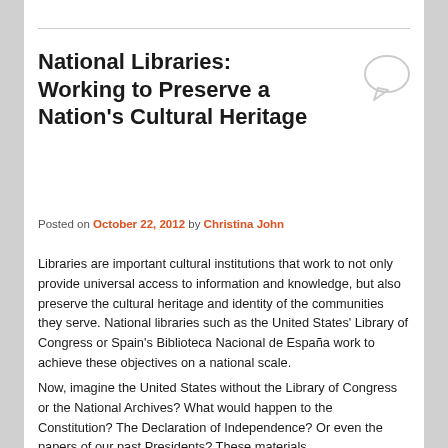National Libraries: Working to Preserve a Nation's Cultural Heritage
Posted on October 22, 2012 by Christina John
Libraries are important cultural institutions that work to not only provide universal access to information and knowledge, but also preserve the cultural heritage and identity of the communities they serve. National libraries such as the United States' Library of Congress or Spain's Biblioteca Nacional de España work to achieve these objectives on a national scale.
Now, imagine the United States without the Library of Congress or the National Archives? What would happen to the Constitution? The Declaration of Independence? Or even the papers of our past Presidents? These materials